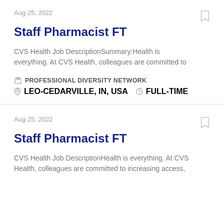Aug 25, 2022
Staff Pharmacist FT
CVS Health Job DescriptionSummary:Health is everything. At CVS Health, colleagues are committed to
PROFESSIONAL DIVERSITY NETWORK
LEO-CEDARVILLE, IN, USA   FULL-TIME
Aug 25, 2022
Staff Pharmacist FT
CVS Health Job DescriptionHealth is everything. At CVS Health, colleagues are committed to increasing access,